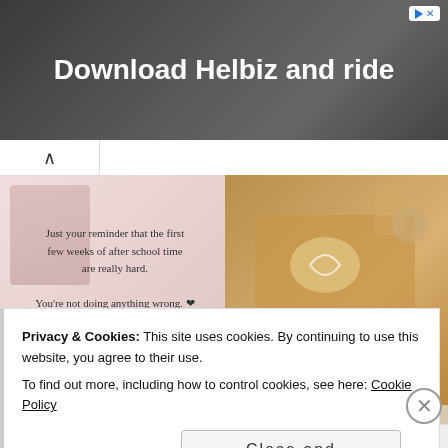[Figure (screenshot): Advertisement banner for Helbiz with text 'Download Helbiz and ride' on a dark background with a camera/film equipment silhouette. Ad icon in top right corner.]
[Figure (photo): Inspirational text image with pink/brick background showing a child smiling. Text reads: 'Just your reminder that the first few weeks of after school time are really hard. You're not doing anything wrong. ❤' with watermark @angelamontessori]
[Figure (photo): Photo of children at a wooden table doing an activity. A pink/purple caption overlay reads: 'When things just aren't going the way they should...']
[Figure (photo): Bottom-left partial image showing trees/nature scene with green tones]
[Figure (photo): Bottom-right partial image showing children's artwork or craft materials]
Privacy & Cookies: This site uses cookies. By continuing to use this website, you agree to their use.
To find out more, including how to control cookies, see here: Cookie Policy
Close and accept